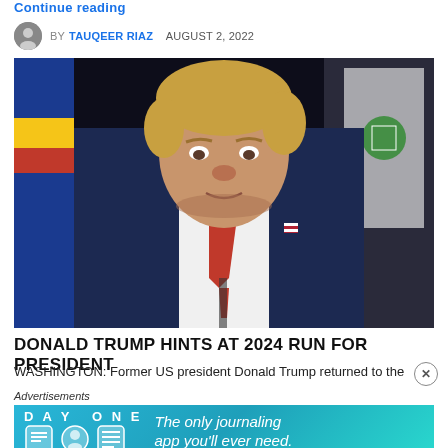Continue reading
BY TAUQEER RIAZ   AUGUST 2, 2022
[Figure (photo): Former US President Donald Trump standing at a podium wearing a dark navy suit and red tie, with flags in the background including what appears to be a state flag with blue and yellow stripes on the left and a white flag on the right.]
DONALD TRUMP HINTS AT 2024 RUN FOR PRESIDENT
WASHINGTON: Former US president Donald Trump returned to the
Advertisements
[Figure (infographic): Day One journaling app advertisement banner with light blue background showing app icons and text: The only journaling app you'll ever need.]